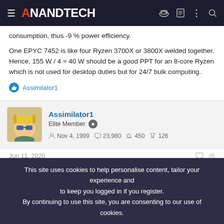AnandTech
consumption, thus -9 % power efficiency.
One EPYC 7452 is like four Ryzen 3700X or 3800X welded together. Hence, 155 W / 4 ≈ 40 W should be a good PPT for an 8-core Ryzen which is not used for desktop duties but for 24/7 bulk computing.
Assimilator1
Assimilator1
Elite Member
Nov 4, 1999  23,980  450  126
Jun 11, 2020  #6
This site uses cookies to help personalise content, tailor your experience and to keep you logged in if you register.
By continuing to use this site, you are consenting to our use of cookies.